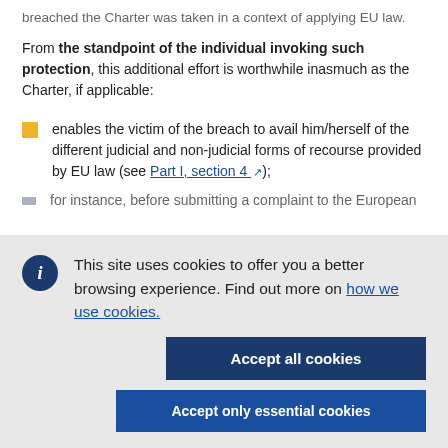...breached the Charter was taken in a context of applying EU law.
From the standpoint of the individual invoking such protection, this additional effort is worthwhile inasmuch as the Charter, if applicable:
enables the victim of the breach to avail him/herself of the different judicial and non-judicial forms of recourse provided by EU law (see Part I, section 4 [external link]);
for instance, before submitting a complaint to the European...
[Figure (infographic): Cookie consent banner overlay with info icon, message about cookie usage, link to cookie policy, and two buttons: 'Accept all cookies' and 'Accept only essential cookies']